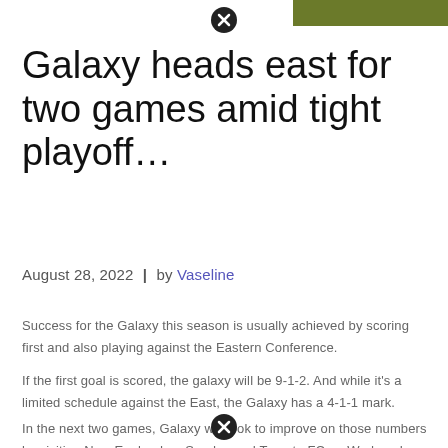Galaxy heads east for two games amid tight playoff…
August 28, 2022  |  by Vaseline
Success for the Galaxy this season is usually achieved by scoring first and also playing against the Eastern Conference.
If the first goal is scored, the galaxy will be 9-1-2. And while it's a limited schedule against the East, the Galaxy has a 4-1-1 mark.
In the next two games, Galaxy will look to improve on those numbers by visiting New England on Sunday and Toronto FC on Wednesday.